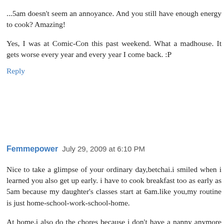...5am doesn't seem an annoyance. And you still have enough energy to cook? Amazing!
Yes, I was at Comic-Con this past weekend. What a madhouse. It gets worse every year and every year I come back. :P
Reply
Femmepower  July 29, 2009 at 6:10 PM
Nice to take a glimpse of your ordinary day,betchai.i smiled when i learned you also get up early. i have to cook breakfast too as early as 5am because my daughter's classes start at 6am.like you,my routine is just home-school-work-school-home.
At home,i also do the chores because i don't have a nanny anymore (been 2 yrs).but whenever i'm stressed, i either sleep for long hours or go malling and shopping (yeah,guilty as charged hehe).
I envy you for the marvelous places you can visit there.we